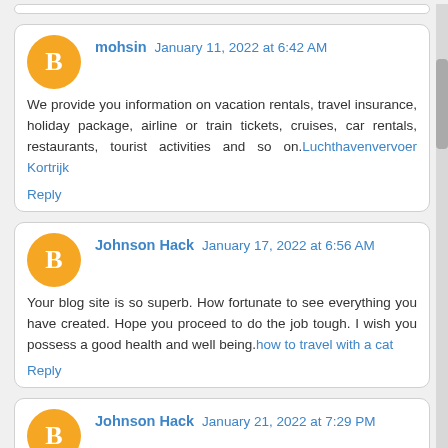mohsin  January 11, 2022 at 6:42 AM
We provide you information on vacation rentals, travel insurance, holiday package, airline or train tickets, cruises, car rentals, restaurants, tourist activities and so on.Luchthavenvervoer Kortrijk
Reply
Johnson Hack  January 17, 2022 at 6:56 AM
Your blog site is so superb. How fortunate to see everything you have created. Hope you proceed to do the job tough. I wish you possess a good health and well being.how to travel with a cat
Reply
Johnson Hack  January 21, 2022 at 7:29 PM
I am very amazed by the information of this blog and i am glad i had a look over the blog. thank you so much for sharing such great information.Surf Culture Bali
Reply